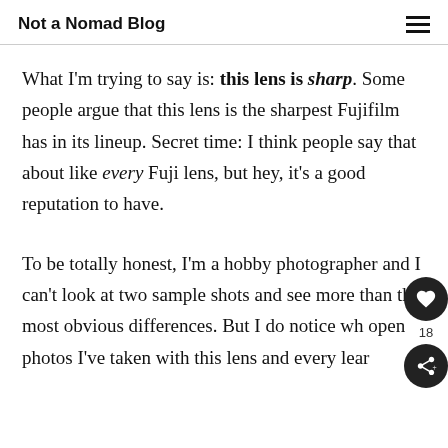Not a Nomad Blog
What I'm trying to say is: this lens is sharp. Some people argue that this lens is the sharpest Fujifilm has in its lineup. Secret time: I think people say that about like every Fuji lens, but hey, it's a good reputation to have.
To be totally honest, I'm a hobby photographer and I can't look at two sample shots and see more than the most obvious differences. But I do notice wh open photos I've taken with this lens and every lear